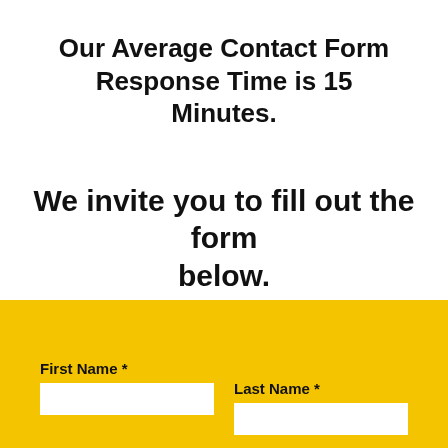Our Average Contact Form Response Time is 15 Minutes.
We invite you to fill out the form below.
[Figure (other): Yellow contact form area with First Name and Last Name fields visible at the bottom of the page]